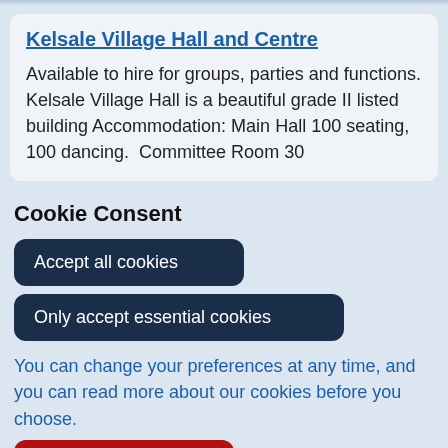Kelsale Village Hall and Centre
Available to hire for groups, parties and functions. Kelsale Village Hall is a beautiful grade II listed building Accommodation: Main Hall 100 seating, 100 dancing.  Committee Room 30
Cookie Consent
Accept all cookies
Only accept essential cookies
You can change your preferences at any time, and you can read more about our cookies before you choose.
Leave Website